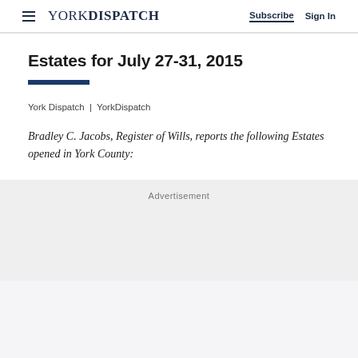YORK DISPATCH | Subscribe | Sign In
Estates for July 27-31, 2015
York Dispatch | YorkDispatch
Bradley C. Jacobs, Register of Wills, reports the following Estates opened in York County:
Advertisement